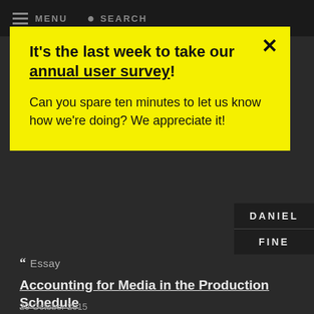MENU  SEARCH
It's the last week to take our annual user survey!
Can you spare ten minutes to let us know how we're doing? We appreciate it!
DANIEL FINE
Essay
Accounting for Media in the Production Schedule
29 October 2015